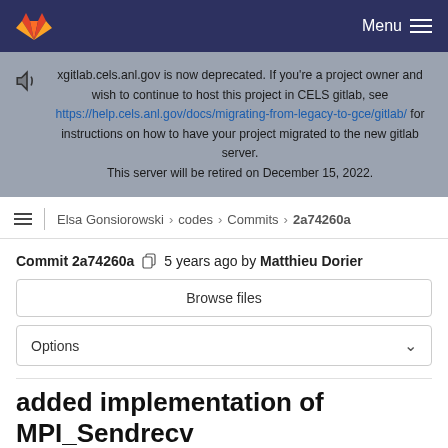Menu
xgitlab.cels.anl.gov is now deprecated. If you're a project owner and wish to continue to host this project in CELS gitlab, see https://help.cels.anl.gov/docs/migrating-from-legacy-to-gce/gitlab/ for instructions on how to have your project migrated to the new gitlab server. This server will be retired on December 15, 2022.
Elsa Gonsiorowski > codes > Commits > 2a74260a
Commit 2a74260a  5 years ago by Matthieu Dorier
Browse files
Options
added implementation of MPI_Sendrecv